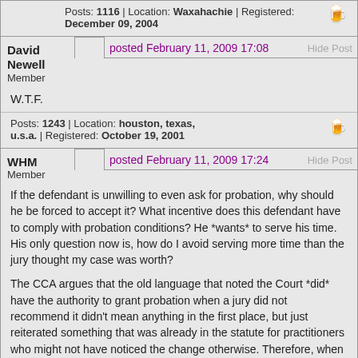Posts: 1116 | Location: Waxahachie | Registered: December 09, 2004
David Newell
Member
posted February 11, 2009 17:08
Hide Post
W.T.F.
Posts: 1243 | Location: houston, texas, u.s.a. | Registered: October 19, 2001
WHM
Member
posted February 11, 2009 17:24
Hide Post
If the defendant is unwilling to even ask for probation, why should he be forced to accept it? What incentive does this defendant have to comply with probation conditions? He *wants* to serve his time. His only question now is, how do I avoid serving more time than the jury thought my case was worth?
The CCA argues that the old language that noted the Court *did* have the authority to grant probation when a jury did not recommend it didn't mean anything in the first place, but just reiterated something that was already in the statute for practitioners who might not have noticed the change otherwise. Therefore, when this "vestigial" language was deleted, that, too was a meaningless bit of legislation.
Can anyone recall another example of a statute that contained language that was intended to have no